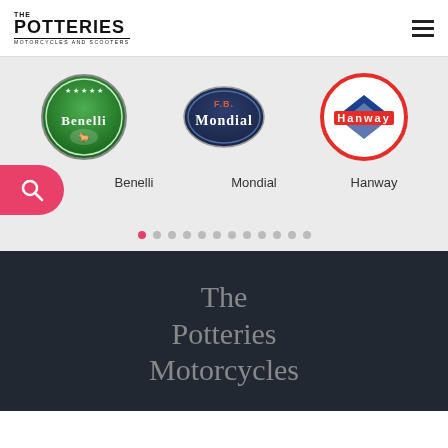THE POTTERIES MOTORCYCLES AND SCOOTERS
[Figure (logo): Benelli motorcycle brand logo - circular green badge with horse emblem]
[Figure (logo): FB Mondial motorcycle brand logo - dark blue oval badge]
[Figure (logo): Hanway motorcycle brand logo - circular red and white badge with blue arrow]
Benelli
Mondial
Hanway
The Potteries Motorcycles